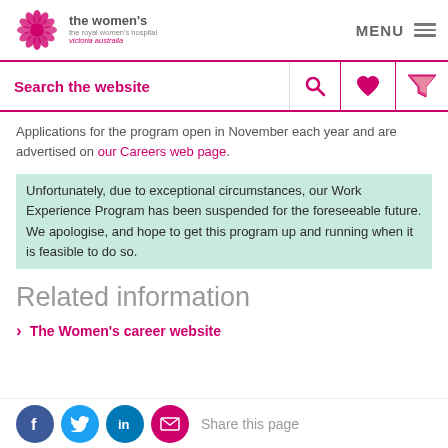the women's the royal women's hospital victoria australia | MENU
[Figure (screenshot): Search bar with search icon, heart icon, and filter icon]
Applications for the program open in November each year and are advertised on our Careers web page.
Unfortunately, due to exceptional circumstances, our Work Experience Program has been suspended for the foreseeable future. We apologise, and hope to get this program up and running when it is feasible to do so.
Related information
The Women's career website
[Figure (infographic): Social share icons: Facebook, Twitter, LinkedIn, Email, and 'Share this page' text]